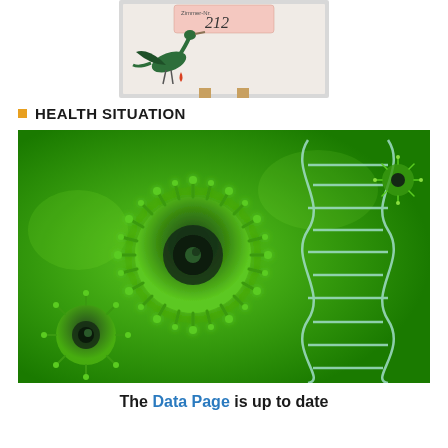[Figure (photo): Photo of a hospital room door sign with a stork logo carrying a blood drop, showing 'Zimmer-Nr. 212' handwritten on a card]
HEALTH SITUATION
[Figure (photo): Digital illustration of green virus/coronavirus particles next to a DNA double helix strand on a green background]
The Data Page is up to date